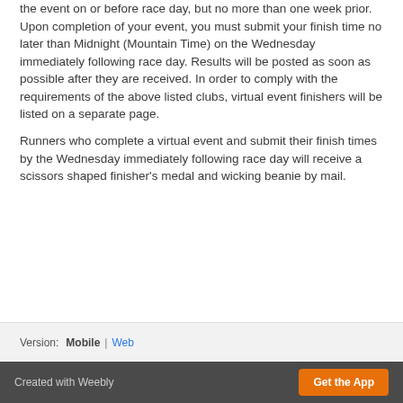the event on or before race day, but no more than one week prior. Upon completion of your event, you must submit your finish time no later than Midnight (Mountain Time) on the Wednesday immediately following race day. Results will be posted as soon as possible after they are received. In order to comply with the requirements of the above listed clubs, virtual event finishers will be listed on a separate page.
Runners who complete a virtual event and submit their finish times by the Wednesday immediately following race day will receive a scissors shaped finisher's medal and wicking beanie by mail.
Version: Mobile | Web
Created with Weebly  Get the App